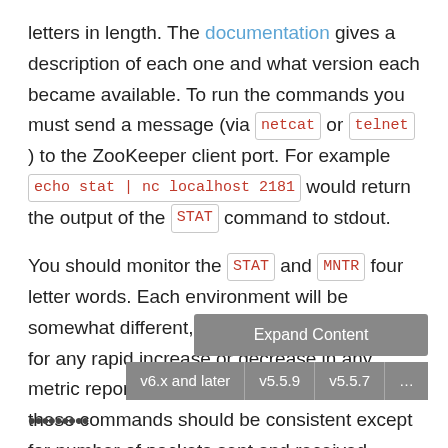letters in length. The documentation gives a description of each one and what version each became available. To run the commands you must send a message (via netcat or telnet ) to the ZooKeeper client port. For example echo stat | nc localhost 2181 would return the output of the STAT command to stdout.
You should monitor the STAT and MNTR four letter words. Each environment will be somewhat different, but you will be monitoring for any rapid increase or decrease in any metric reported here. The metrics reported by these commands should be consistent except for number of packets sent and received which should increase slowly over time.
Expand Content
v6.x and later   v5.5.9   v5.5.7   ...